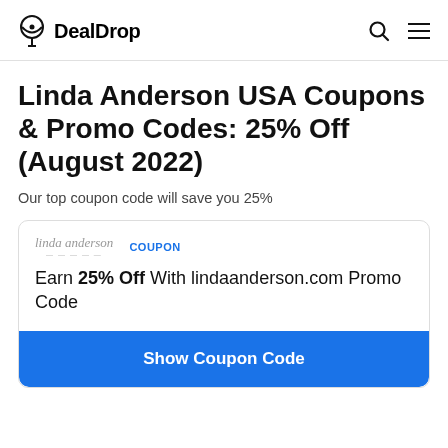DealDrop
Linda Anderson USA Coupons & Promo Codes: 25% Off (August 2022)
Our top coupon code will save you 25%
COUPON
Earn 25% Off With lindaanderson.com Promo Code
Show Coupon Code